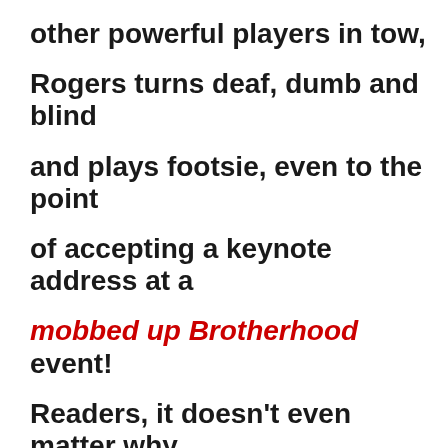other powerful players in tow,
Rogers turns deaf, dumb and blind
and plays footsie, even to the point
of accepting a keynote address at a
mobbed up Brotherhood event!
Readers, it doesn't even matter why.